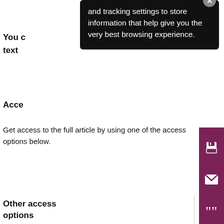[Figure (screenshot): Black tooltip/popup overlay with close button (X) showing cookie tracking settings message: 'and tracking settings to store information that help give you the very best browsing experience.']
You c... text...
Acce...
Get access to the full article by using one of the access options below.
Other access options
Redeem Token
Institutional Login
Log in with Open Athens, Shi... or your institutional credenti...
Login via Institutional A...
Personal login
Log in with your Elgar Online